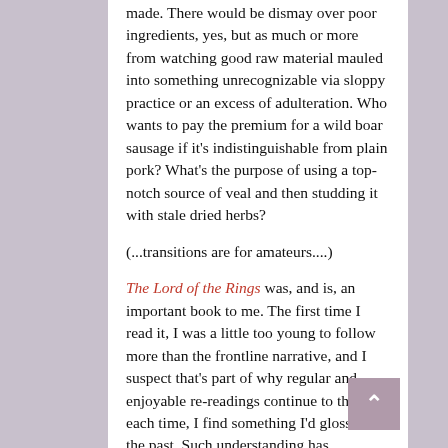made. There would be dismay over poor ingredients, yes, but as much or more from watching good raw material mauled into something unrecognizable via sloppy practice or an excess of adulteration. Who wants to pay the premium for a wild boar sausage if it's indistinguishable from plain pork? What's the purpose of using a top-notch source of veal and then studding it with stale dried herbs?
(...transitions are for amateurs....)
The Lord of the Rings was, and is, an important book to me. The first time I read it, I was a little too young to follow more than the frontline narrative, and I suspect that's part of why regular and enjoyable re-readings continue to this day: each time, I find something I'd glossed in the past. Such understanding has, admittedly, been greatly aided by also owning and reading the vast library of